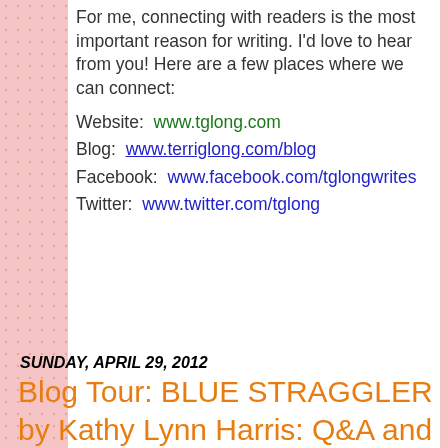For me, connecting with readers is the most important reason for writing. I'd love to hear from you! Here are a few places where we can connect:
Website:  www.tglong.com
Blog:  www.terriglong.com/blog
Facebook:  www.facebook.com/tglongwrites
Twitter:  www.twitter.com/tglong
Mrs Mommy Booknerd    3 comments:
Share
SUNDAY, APRIL 29, 2012
Blog Tour: BLUE STRAGGLER by Kathy Lynn Harris: Q&A and Guest Post